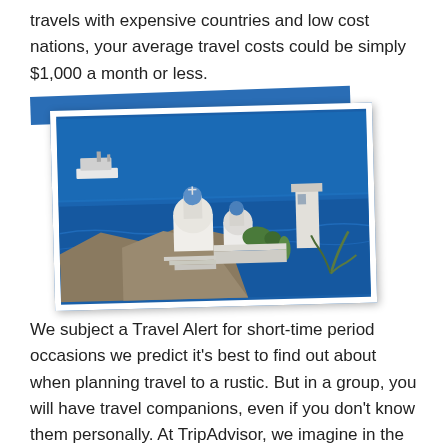travels with expensive countries and low cost nations, your average travel costs could be simply $1,000 a month or less.
[Figure (photo): Photo of a Greek island (Santorini-style) scene with white domed churches, blue sea, and a cruise ship in the background. The photo is tilted slightly and overlaps a blue strip behind it.]
We subject a Travel Alert for short-time period occasions we predict it's best to find out about when planning travel to a rustic. But in a group, you will have travel companions, even if you don't know them personally. At TripAdvisor, we imagine in the power of travel – and in serving to you profit from each journey.
You see, travel agencies need you to imagine that it costs a